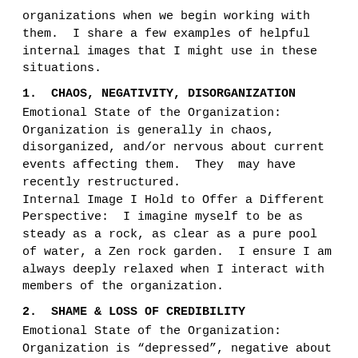organizations when we begin working with them.  I share a few examples of helpful internal images that I might use in these situations.
1.  CHAOS, NEGATIVITY, DISORGANIZATION
Emotional State of the Organization:  Organization is generally in chaos, disorganized, and/or nervous about current events affecting them.  They  may have recently restructured.
Internal Image I Hold to Offer a Different Perspective:  I imagine myself to be as steady as a rock, as clear as a pure pool of water, a Zen rock garden.  I ensure I am always deeply relaxed when I interact with members of the organization.
2.  SHAME & LOSS OF CREDIBILITY
Emotional State of the Organization:  Organization is “depressed”, negative about their future; members may feel some shame about a recent series of events. Organization may have lost credibility with the public.